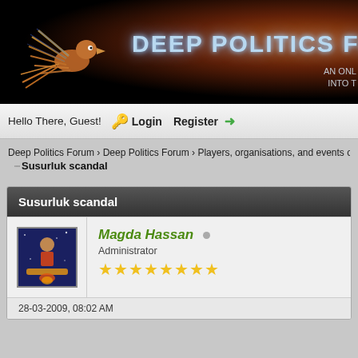[Figure (screenshot): Deep Politics Forum banner with bird logo, glowing title text, and dark background with orange radial glow]
Hello There, Guest! Login Register
Deep Politics Forum › Deep Politics Forum › Players, organisations, and events of
Susurluk scandal
Susurluk scandal
Magda Hassan Administrator ★★★★★★★★
28-03-2009, 08:02 AM